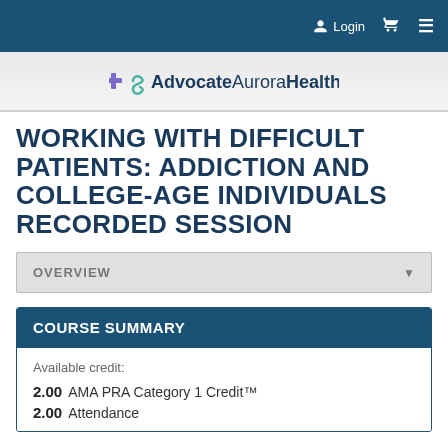Login
[Figure (logo): AdvocateAurora Health logo with cross and infinity symbol]
WORKING WITH DIFFICULT PATIENTS: ADDICTION AND COLLEGE-AGE INDIVIDUALS RECORDED SESSION
OVERVIEW
COURSE SUMMARY
Available credit:
2.00 AMA PRA Category 1 Credit™
2.00 Attendance